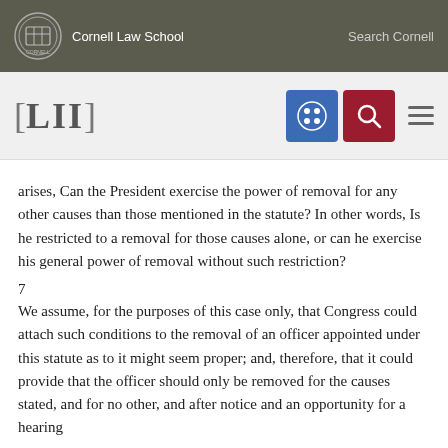Cornell Law School | Search Cornell
[Figure (logo): LII Legal Information Institute logo with Cornell Law School branding, navigation icons (grid and search) and hamburger menu]
arises, Can the President exercise the power of removal for any other causes than those mentioned in the statute? In other words, Is he restricted to a removal for those causes alone, or can he exercise his general power of removal without such restriction?
7
We assume, for the purposes of this case only, that Congress could attach such conditions to the removal of an officer appointed under this statute as to it might seem proper; and, therefore, that it could provide that the officer should only be removed for the causes stated, and for no other, and after notice and an opportunity for a hearing